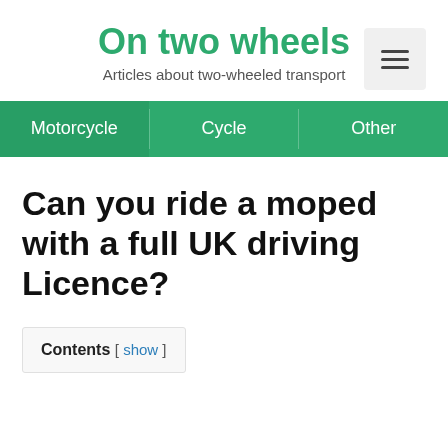On two wheels
Articles about two-wheeled transport
Motorcycle  Cycle  Other
Can you ride a moped with a full UK driving Licence?
Contents [ show ]